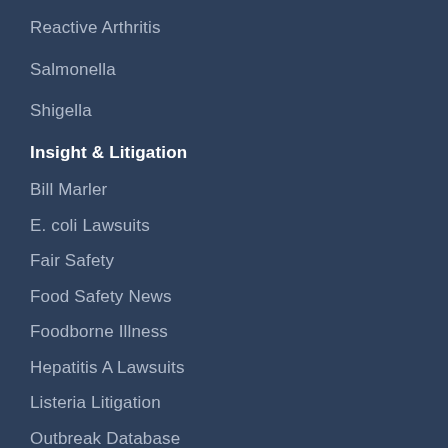Reactive Arthritis
Salmonella
Shigella
Insight & Litigation
Bill Marler
E. coli Lawsuits
Fair Safety
Food Safety News
Foodborne Illness
Hepatitis A Lawsuits
Listeria Litigation
Outbreak Database
Salmonella Litigation